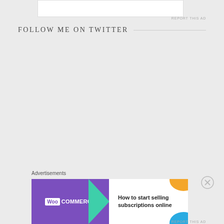[Figure (other): Top advertisement banner (partial, cropped)]
REPORT THIS AD
FOLLOW ME ON TWITTER
Advertisements
[Figure (other): WooCommerce advertisement banner: 'How to start selling subscriptions online']